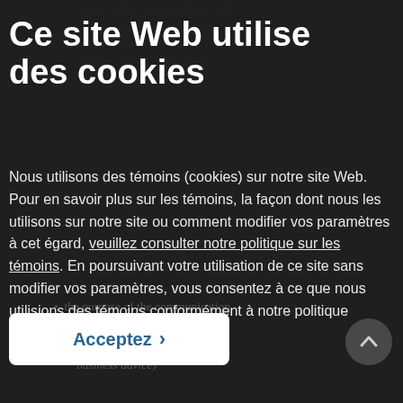Ce site Web utilise des cookies
Nous utilisons des témoins (cookies) sur notre site Web. Pour en savoir plus sur les témoins, la façon dont nous les utilisons sur notre site ou comment modifier vos paramètres à cet égard, veuillez consulter notre politique sur les témoins. En poursuivant votre utilisation de ce site sans modifier vos paramètres, vous consentez à ce que nous utilisions des témoins conformément à notre politique connexe.
Acceptez >